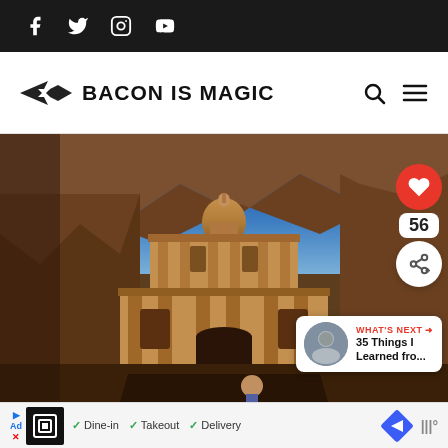Social media icons bar: Facebook, Twitter, Instagram, YouTube
BACON IS MAGIC
[Figure (photo): Photograph of the Monastery (Ad Deir) at Petra, Jordan — a large rose-red rock-cut facade with columns and arched doorways carved into sandstone cliffs, with blue sky and rocky mountains behind. A person is visible at the bottom of the image. Overlaid UI elements include a red heart button, a share button, and a '56' count badge on the right side, plus a 'WHAT'S NEXT' panel showing '35 Things I Learned fro...']
Ad: Dine-in  Takeout  Delivery